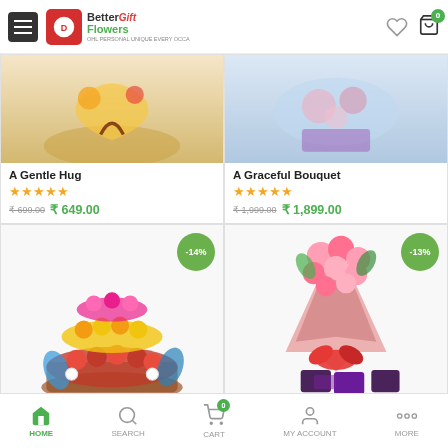Better Flowers Gift - navigation header with hamburger menu, logo, heart icon, cart with badge 0
[Figure (photo): Partial top of product image - warm golden tones, A Gentle Hug product]
A Gentle Hug
★★★★★
₹699.00  ₹649.00
[Figure (photo): Partial top of product image - cool blue tones, A Graceful Bouquet product]
A Graceful Bouquet
★★★★★
₹1,999.00  ₹1,899.00
[Figure (photo): Tiered flower arrangement with pink, yellow, and red roses in a basket - -14% discount badge]
[Figure (photo): Pink rose bouquet wrapped in pink paper with red ribbon and chocolates - -13% discount badge]
HOME  SEARCH  CART (0)  MY ACCOUNT  MORE